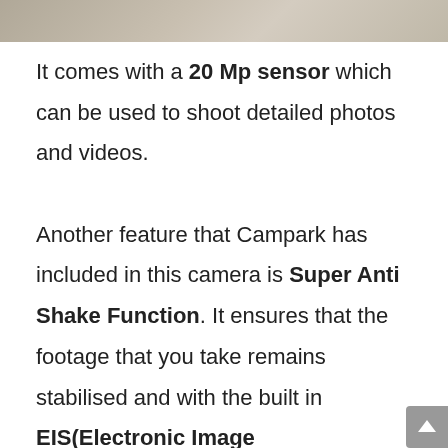[Figure (photo): Partial view of photo strip at the top of the page showing an outdoor scene]
It comes with a 20 Mp sensor which can be used to shoot detailed photos and videos.

Another feature that Campark has included in this camera is Super Anti Shake Function. It ensures that the footage that you take remains stabilised and with the built in EIS(Electronic Image